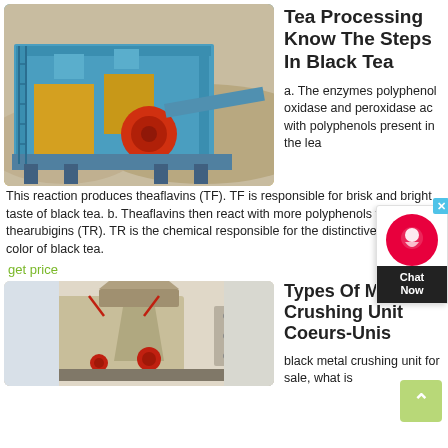[Figure (photo): Large blue and yellow industrial crushing/mining machine in a desert setting]
Tea Processing Know The Steps In Black Tea
a. The enzymes polyphenol oxidase and peroxidase act with polyphenols present in the leaves. This reaction produces theaflavins (TF). TF is responsible for brisk and bright taste of black tea. b. Theaflavins then react with more polyphenols to produce thearubigins (TR). TR is the chemical responsible for the distinctive body and color of black tea.
get price
[Figure (photo): Metal crushing unit machine, beige/tan colored industrial equipment]
Types Of Metal Crushing Unit Coeurs-Unis
black metal crushing unit for sale, what is